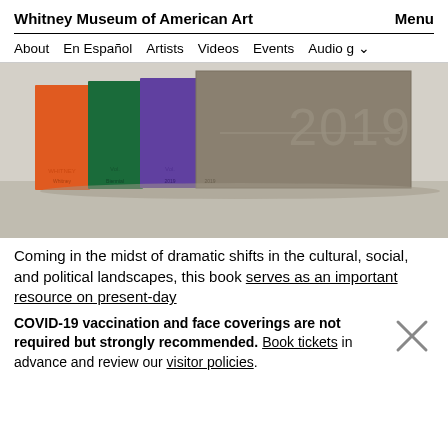Whitney Museum of American Art   Menu
About   En Español   Artists   Videos   Events   Audio g ∨
[Figure (photo): Photo of stacked books/annuals, including one labeled '2019', displayed upright against a light background. Books are brown/grey, purple, green, and orange.]
Coming in the midst of dramatic shifts in the cultural, social, and political landscapes, this book serves as an important resource on present-day
COVID-19 vaccination and face coverings are not required but strongly recommended. Book tickets in advance and review our visitor policies.